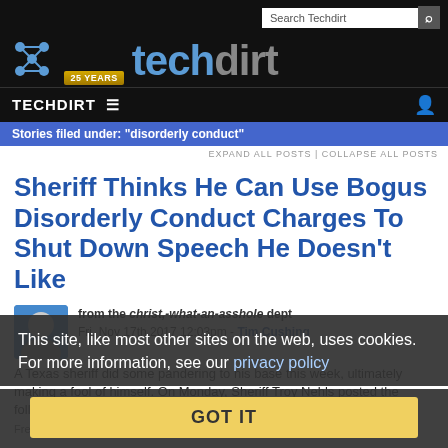techdirt — Search Techdirt — TECHDIRT ☰ — Stories filed under: "disorderly conduct"
EXPAND ALL POSTS | COLLAPSE ALL POSTS
Sheriff Thinks He Can Use Bogus Disorderly Conduct Charges To Shut Down Speech He Doesn't Like
from the christ,-what-an-asshole dept
Fri, Nov 17th 2017 12:03pm - Tim Cushing
A Texas sheriff did some pandering to his base this week, ultimately making a fool of himself. On Monday, Sheriff Troy Nehls posted the following to available to all...
Free Speech
This site, like most other sites on the web, uses cookies. For more information, see our privacy policy
GOT IT